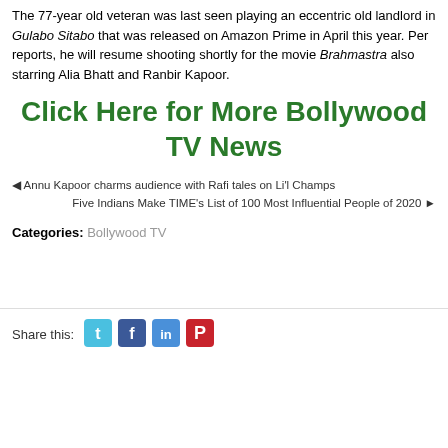The 77-year old veteran was last seen playing an eccentric old landlord in Gulabo Sitabo that was released on Amazon Prime in April this year. Per reports, he will resume shooting shortly for the movie Brahmastra also starring Alia Bhatt and Ranbir Kapoor.
Click Here for More Bollywood TV News
◄ Annu Kapoor charms audience with Rafi tales on Li'l Champs
Five Indians Make TIME's List of 100 Most Influential People of 2020 ►
Categories: Bollywood TV
Share this: